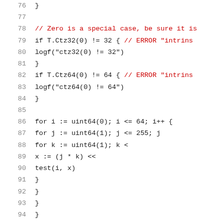Code listing lines 76–94 showing Go/similar code with loop structures and intrinsic function tests for Ctz32 and Ctz64.